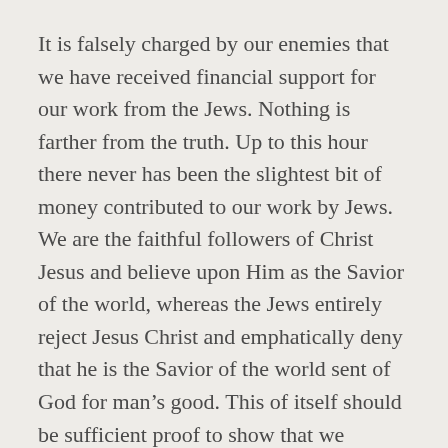It is falsely charged by our enemies that we have received financial support for our work from the Jews. Nothing is farther from the truth. Up to this hour there never has been the slightest bit of money contributed to our work by Jews. We are the faithful followers of Christ Jesus and believe upon Him as the Savior of the world, whereas the Jews entirely reject Jesus Christ and emphatically deny that he is the Savior of the world sent of God for man’s good. This of itself should be sufficient proof to show that we receive no support from Jews and that therefore the charges against us are maliciously false and could proceed only from Satan, our great enemy.
The greatest and most oppressive empire on earth is the Anglo-American empire. By that is meant the British Empire, of which the United States of America